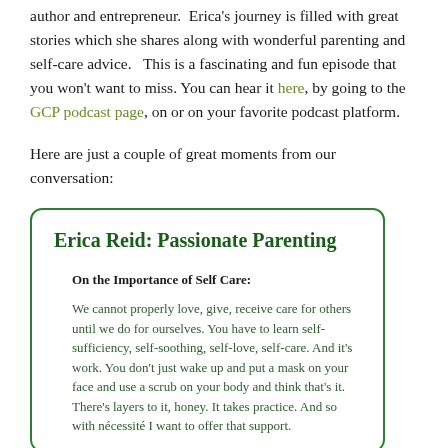author and entrepreneur. Erica's journey is filled with great stories which she shares along with wonderful parenting and self-care advice. This is a fascinating and fun episode that you won't want to miss. You can hear it here, by going to the GCP podcast page, on or on your favorite podcast platform.
Here are just a couple of great moments from our conversation:
Erica Reid: Passionate Parenting
On the Importance of Self Care:
We cannot properly love, give, receive care for others until we do for ourselves. You have to learn self-sufficiency, self-soothing, self-love, self-care. And it's work. You don't just wake up and put a mask on your face and use a scrub on your body and think that's it. There's layers to it, honey. It takes practice. And so with nécessité I want to offer that support.